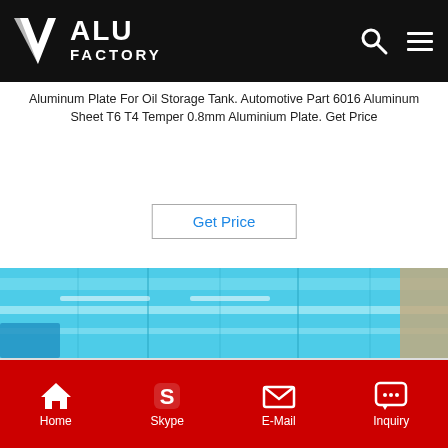ALU FACTORY
Aluminum Plate For Oil Storage Tank. Automotive Part 6016 Aluminum Sheet T6 T4 Temper 0.8mm Aluminium Plate. Get Price
Get Price
[Figure (photo): Blue plastic-wrapped aluminum sheets stacked, showing reflective cyan/turquoise protective film surface with white reflection stripes]
Home  Skype  E-Mail  Inquiry